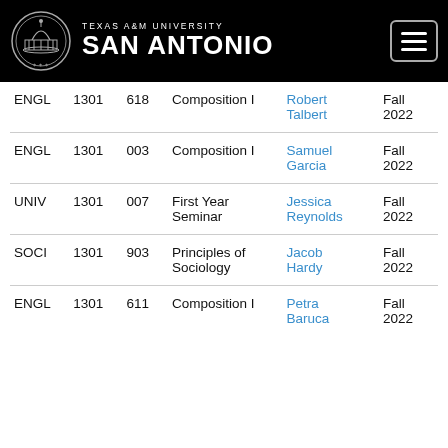[Figure (logo): Texas A&M University San Antonio logo with university seal and name]
| Dept | Num | Sec | Title | Instructor | Term |
| --- | --- | --- | --- | --- | --- |
| ENGL | 1301 | 618 | Composition I | Robert Talbert | Fall 2022 |
| ENGL | 1301 | 003 | Composition I | Samuel Garcia | Fall 2022 |
| UNIV | 1301 | 007 | First Year Seminar | Jessica Reynolds | Fall 2022 |
| SOCI | 1301 | 903 | Principles of Sociology | Jacob Hardy | Fall 2022 |
| ENGL | 1301 | 611 | Composition I | Petra Baruca | Fall 2022 |